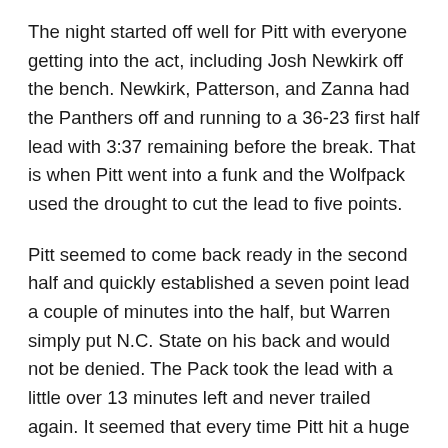The night started off well for Pitt with everyone getting into the act, including Josh Newkirk off the bench. Newkirk, Patterson, and Zanna had the Panthers off and running to a 36-23 first half lead with 3:37 remaining before the break. That is when Pitt went into a funk and the Wolfpack used the drought to cut the lead to five points.
Pitt seemed to come back ready in the second half and quickly established a seven point lead a couple of minutes into the half, but Warren simply put N.C. State on his back and would not be denied. The Pack took the lead with a little over 13 minutes left and never trailed again. It seemed that every time Pitt hit a huge shot, Warren would answer on the next trip down the floor.